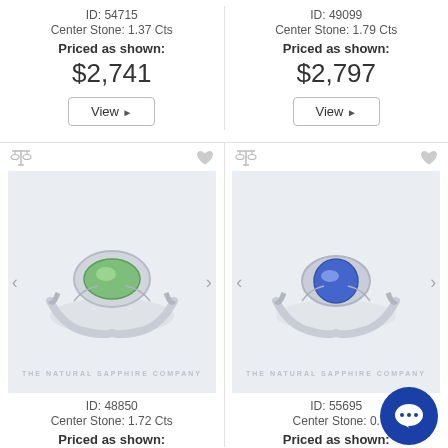ID: 54715
Center Stone: 1.37 Cts
Priced as shown:
$2,741
View
ID: 49099
Center Stone: 1.79 Cts
Priced as shown:
$2,797
View
[Figure (photo): Green sapphire ring on white background, ID 48850]
ID: 48850
Center Stone: 1.72 Cts
Priced as shown:
[Figure (photo): Blue sapphire ring on white background, ID 55695]
ID: 55695
Center Stone: 0.??
Priced as shown: